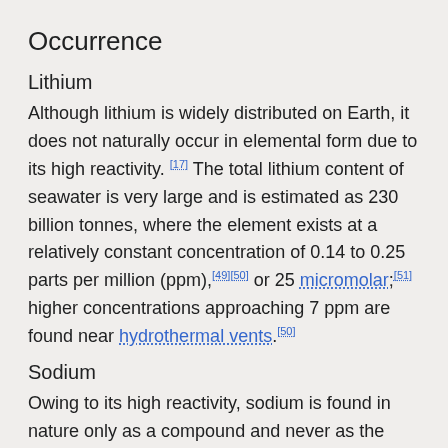Occurrence
Lithium
Although lithium is widely distributed on Earth, it does not naturally occur in elemental form due to its high reactivity. [17] The total lithium content of seawater is very large and is estimated as 230 billion tonnes, where the element exists at a relatively constant concentration of 0.14 to 0.25 parts per million (ppm),[49][50] or 25 micromolar;[51] higher concentrations approaching 7 ppm are found near hydrothermal vents.[50]
Sodium
Owing to its high reactivity, sodium is found in nature only as a compound and never as the free element. Sodium